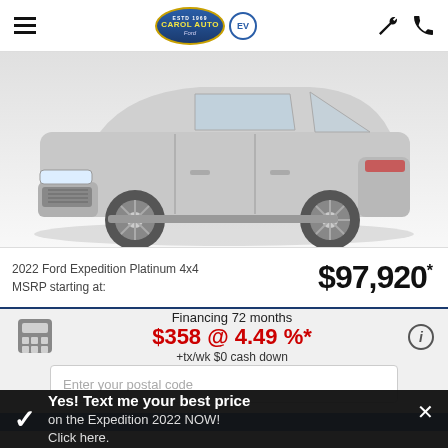Carol Auto Ford - Navigation header with logo and icons
[Figure (photo): Front/side view of a 2022 Ford Expedition Platinum 4x4 in silver/grey, showing front bumper, grille, and large alloy wheels on a white/grey background]
2022 Ford Expedition Platinum 4x4 MSRP starting at: $97,920*
Financing 72 months $358 @ 4.49 %* +tx/wk $0 cash down
Enter your postal code
Yes! Text me your best price on the Expedition 2022 NOW! Click here.